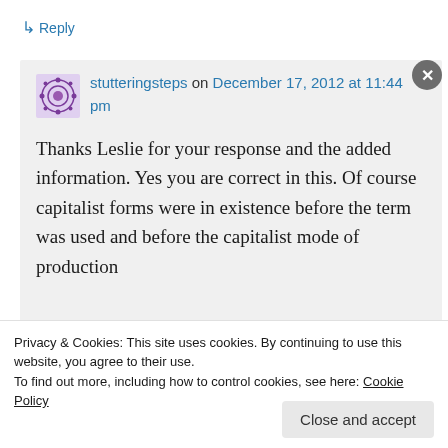↳ Reply
stutteringsteps on December 17, 2012 at 11:44 pm
Thanks Leslie for your response and the added information. Yes you are correct in this. Of course capitalist forms were in existence before the term was used and before the capitalist mode of production
Privacy & Cookies: This site uses cookies. By continuing to use this website, you agree to their use.
To find out more, including how to control cookies, see here: Cookie Policy
Close and accept